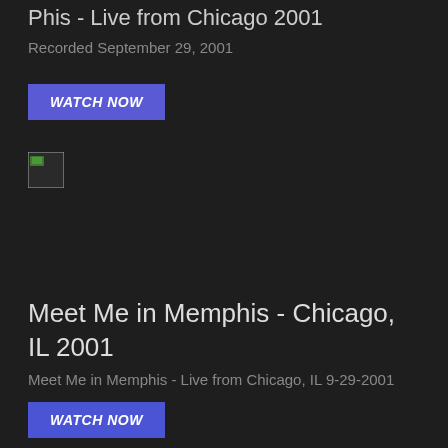Phis - Live from Chicago 2001
Recorded September 29, 2001
WATCH NOW
[Figure (photo): Small broken/missing thumbnail image placeholder]
Meet Me in Memphis - Chicago, IL 2001
Meet Me in Memphis - Live from Chicago, IL 9-29-2001
WATCH NOW